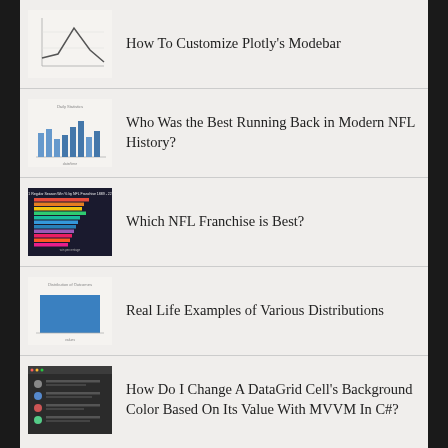How To Customize Plotly's Modebar
Who Was the Best Running Back in Modern NFL History?
Which NFL Franchise is Best?
Real Life Examples of Various Distributions
How Do I Change A DataGrid Cell's Background Color Based On Its Value With MVVM In C#?